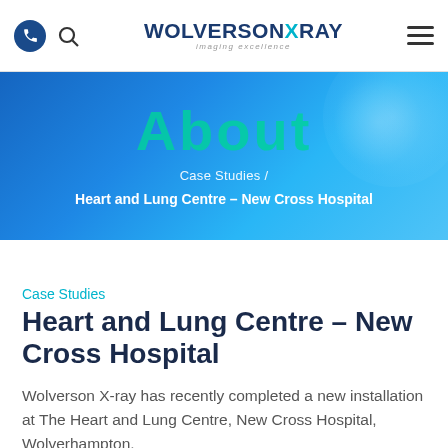WOLVERSON XRAY imaging excellence
[Figure (illustration): Hero banner with blue gradient background, large decorative 'About' text in teal/green, breadcrumb 'Case Studies /' and bold white title 'Heart and Lung Centre – New Cross Hospital']
Case Studies
Heart and Lung Centre – New Cross Hospital
Wolverson X-ray has recently completed a new installation at The Heart and Lung Centre, New Cross Hospital, Wolverhampton.